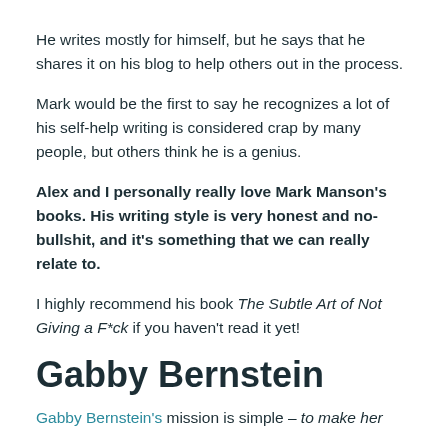He writes mostly for himself, but he says that he shares it on his blog to help others out in the process.
Mark would be the first to say he recognizes a lot of his self-help writing is considered crap by many people, but others think he is a genius.
Alex and I personally really love Mark Manson's books. His writing style is very honest and no-bullshit, and it's something that we can really relate to.
I highly recommend his book The Subtle Art of Not Giving a F*ck if you haven't read it yet!
Gabby Bernstein
Gabby Bernstein's mission is simple – to make her